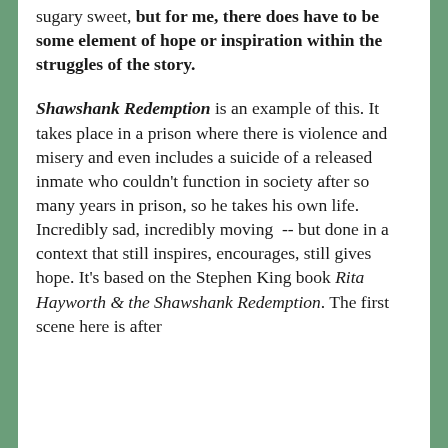sugary sweet, but for me, there does have to be some element of hope or inspiration within the struggles of the story.
Shawshank Redemption is an example of this. It takes place in a prison where there is violence and misery and even includes a suicide of a released inmate who couldn't function in society after so many years in prison, so he takes his own life. Incredibly sad, incredibly moving -- but done in a context that still inspires, encourages, still gives hope. It's based on the Stephen King book Rita Hayworth & the Shawshank Redemption. The first scene here is after